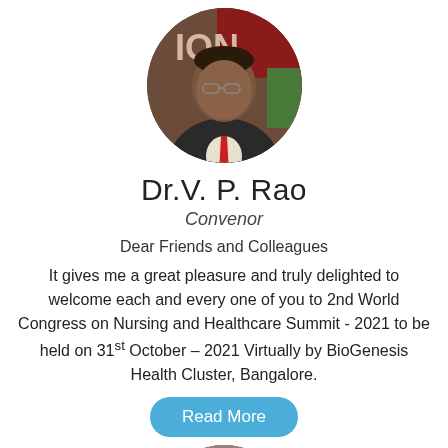[Figure (photo): Circular cropped photo of Dr. V. P. Rao, a man in a dark suit with a red tie, speaking at a podium with a red and green background with the text 'ION' visible.]
Dr.V. P. Rao
Convenor
Dear Friends and Colleagues
It gives me a great pleasure and truly delighted to welcome each and every one of you to 2nd World Congress on Nursing and Healthcare Summit - 2021 to be held on 31st October – 2021 Virtually by BioGenesis Health Cluster, Bangalore.
[Figure (photo): Partially visible circular cropped photo of a person at the bottom of the page.]